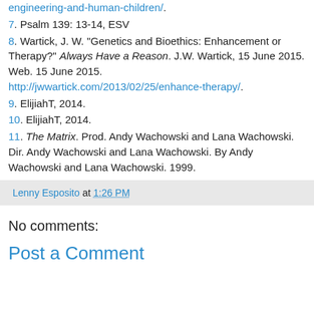engineering-and-human-children/.
7. Psalm 139: 13-14, ESV
8. Wartick, J. W. "Genetics and Bioethics: Enhancement or Therapy?" Always Have a Reason. J.W. Wartick, 15 June 2015. Web. 15 June 2015. http://jwwartick.com/2013/02/25/enhance-therapy/.
9. ElijiahT, 2014.
10. ElijiahT, 2014.
11. The Matrix. Prod. Andy Wachowski and Lana Wachowski. Dir. Andy Wachowski and Lana Wachowski. By Andy Wachowski and Lana Wachowski. 1999.
Lenny Esposito at 1:26 PM
No comments:
Post a Comment